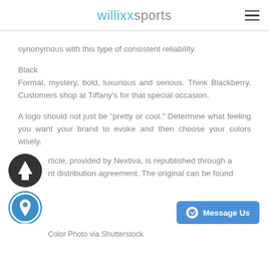willix sports
synonymous with this type of consistent reliability.
Black
Formal, mystery, bold, luxurious and serious. Think Blackberry. Customers shop at Tiffany's for that special occasion.
A logo should not just be "pretty or cool." Determine what feeling you want your brand to evoke and then choose your colors wisely.
rticle, provided by Nextiva, is republished through a nt distribution agreement. The original can be found
[Figure (illustration): Scroll-up button (dark circle with white upward arrow) and location pin button (blue circle with white location icon)]
[Figure (screenshot): Facebook Messenger 'Message Us' blue button]
Color Photo via Shutterstock